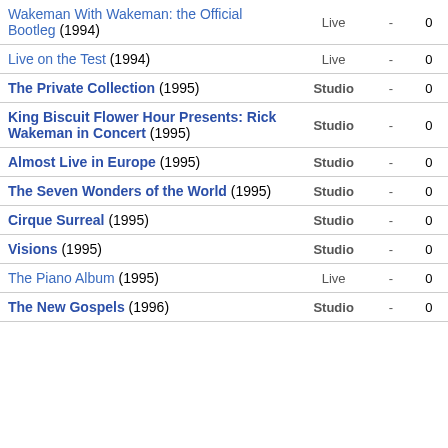| Album | Type | - | 0 |
| --- | --- | --- | --- |
| Wakeman With Wakeman: the Official Bootleg (1994) | Live | - | 0 |
| Live on the Test (1994) | Live | - | 0 |
| The Private Collection (1995) | Studio | - | 0 |
| King Biscuit Flower Hour Presents: Rick Wakeman in Concert (1995) | Studio | - | 0 |
| Almost Live in Europe (1995) | Studio | - | 0 |
| The Seven Wonders of the World (1995) | Studio | - | 0 |
| Cirque Surreal (1995) | Studio | - | 0 |
| Visions (1995) | Studio | - | 0 |
| The Piano Album (1995) | Live | - | 0 |
| The New Gospels (1996) | Studio | - | 0 |